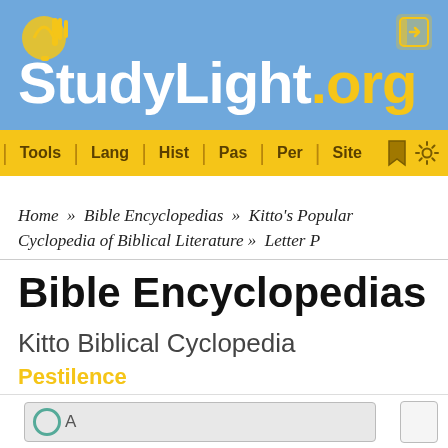StudyLight.org
Tools | Lang | Hist | Pas | Per | Site
Home » Bible Encyclopedias » Kitto's Popular Cyclopedia of Biblical Literature » Letter P
Bible Encyclopedias
Kitto Biblical Cyclopedia
Pestilence